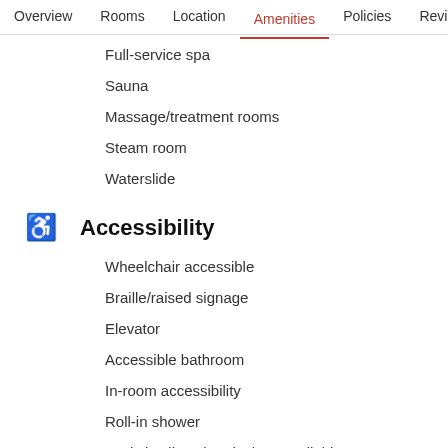Overview  Rooms  Location  Amenities  Policies  Reviews
Full-service spa
Sauna
Massage/treatment rooms
Steam room
Waterslide
Accessibility
Wheelchair accessible
Braille/raised signage
Elevator
Accessible bathroom
In-room accessibility
Roll-in shower
Assistive listening devices available
Languages